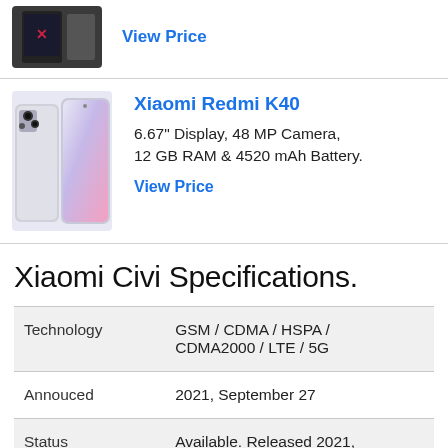[Figure (photo): Top card showing a dark smartphone with a 'View Price' link in blue]
View Price
[Figure (photo): Xiaomi Redmi K40 smartphone image showing front and back in white/gradient color]
Xiaomi Redmi K40
6.67" Display, 48 MP Camera, 12 GB RAM & 4520 mAh Battery.
View Price
Xiaomi Civi Specifications.
|  |  |
| --- | --- |
| Technology | GSM / CDMA / HSPA / CDMA2000 / LTE / 5G |
| Annouced | 2021, September 27 |
| Status | Available. Released 2021, September 30 |